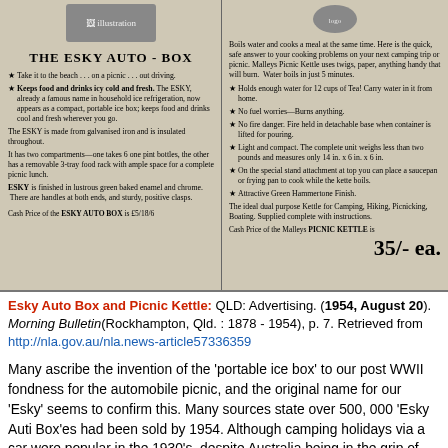[Figure (illustration): Advertisement scan showing Esky Auto-Box and Malleys Picnic Kettle vintage newspaper ads side by side]
THE ESKY AUTO - BOX
Take it to the beach . . . on a picnic . . . out driving.
Keeps food and drinks icy cold and fresh. The ESKY, already a famous name in household ice refrigeration, now appears as a compact, portable ice box; keeps food and drinks cool and fresh wherever you go.
The ESKY is made from galvanised iron and is insulated throughout.
It has two compartments—one takes 6 one pint bottles, the other has a removable 3-tray food rack with ample space for a complete picnic lunch.
ESKY is finished in lustrous green baked enamel and chrome. There are handles at both ends, and sturdy, positive clasps.
Cash Price of the ESKY AUTO BOX is £5/18/6
Boils water and cooks a meal at the same time. Here is the quick, safe answer to your cooking problems on your next camping trip or picnic. Malleys Picnic Kettle uses twigs, paper, anything handy that will burn. Water boils in just 5 minutes.
Holds enough water for 12 cups of Tea! Carry water in it from home.
No fuel worries—Burns anything.
No fire danger. Fire held in detachable base when container is lifted for pouring.
Light and compact. The complete unit weighs less than two pounds and measures only 14 in. x 6 in. x 6 in.
On the special stand attachment at top you can place a saucepan or frying pan to cook while the kette boils.
Attractive Green Hammertone Finish.
The ideal dual purpose Kettle for Camping, Hiking, Picnicking, Boating. Supplied complete with instructions.
Cash Price of the Malleys PICNIC KETTLE is
35/- ea.
Esky Auto Box and Picnic Kettle: QLD: Advertising. (1954, August 20). Morning Bulletin(Rockhampton, Qld. : 1878 - 1954), p. 7. Retrieved from http://nla.gov.au/nla.news-article57336359
Many ascribe the invention of the 'portable ice box' to our post WWII fondness for the automobile picnic, and the original name for our 'Esky' seems to confirm this. Many sources state over 500, 000 'Esky Auti Box'es had been sold by 1954. Although camping holidays via a car were popular in the 1930's, despite Australia being in the grip of The Depression,